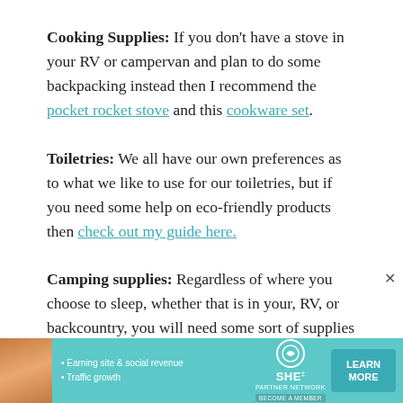Cooking Supplies: If you don't have a stove in your RV or campervan and plan to do some backpacking instead then I recommend the pocket rocket stove and this cookware set.
Toiletries: We all have our own preferences as to what we like to use for our toiletries, but if you need some help on eco-friendly products then check out my guide here.
Camping supplies: Regardless of where you choose to sleep, whether that is in your, RV, or backcountry, you will need some sort of supplies to keep you warm. For
[Figure (other): SHE Partner Network advertisement banner with woman photo, bullet points about earning site & social revenue and traffic growth, SHE logo, and LEARN MORE button]